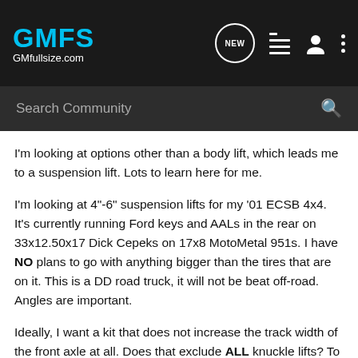[Figure (screenshot): GMFS GMfullsize.com website header with logo, NEW chat icon, list icon, user icon, and menu dots]
[Figure (screenshot): Search Community search bar with magnifying glass icon]
I'm looking at options other than a body lift, which leads me to a suspension lift. Lots to learn here for me.
I'm looking at 4"-6" suspension lifts for my '01 ECSB 4x4. It's currently running Ford keys and AALs in the rear on 33x12.50x17 Dick Cepeks on 17x8 MotoMetal 951s. I have NO plans to go with anything bigger than the tires that are on it. This is a DD road truck, it will not be beat off-road. Angles are important.
Ideally, I want a kit that does not increase the track width of the front axle at all. Does that exclude ALL knuckle lifts? To complicate this, I've read that full bracket lifts do not hold an alignment as well. How big a deal is this?